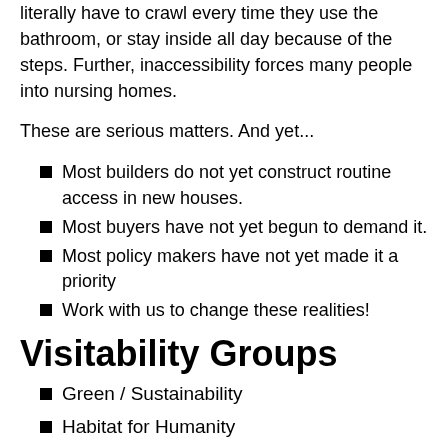literally have to crawl every time they use the bathroom, or stay inside all day because of the steps. Further, inaccessibility forces many people into nursing homes.
These are serious matters. And yet...
Most builders do not yet construct routine access in new houses.
Most buyers have not yet begun to demand it.
Most policy makers have not yet made it a priority
Work with us to change these realities!
Visitability Groups
Green / Sustainability
Habitat for Humanity
NAHB / Realtors
New Urbanism / TND